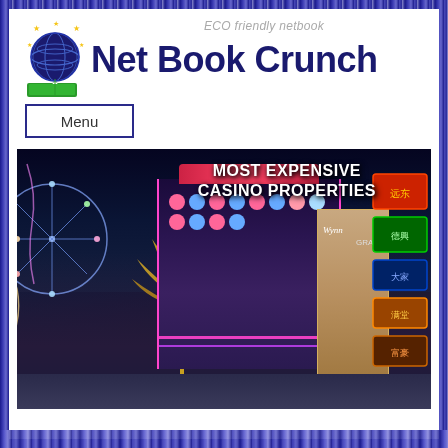ECO friendly netbook
Net Book Crunch
[Figure (logo): Net Book Crunch logo with globe/stars and green book icon]
Menu
[Figure (photo): Night cityscape of casino district (likely Macau) with neon lights, colorful casino buildings, and text overlay reading MOST EXPENSIVE CASINO PROPERTIES]